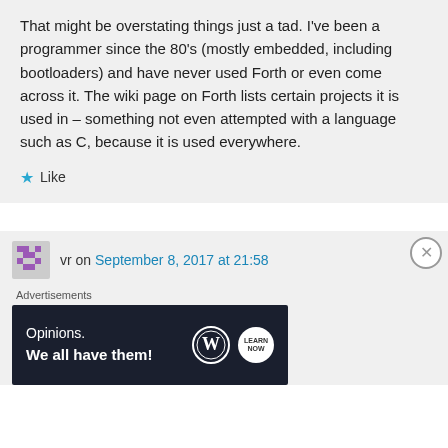That might be overstating things just a tad. I've been a programmer since the 80's (mostly embedded, including bootloaders) and have never used Forth or even come across it. The wiki page on Forth lists certain projects it is used in – something not even attempted with a language such as C, because it is used everywhere.
★ Like
vr on September 8, 2017 at 21:58
Advertisements
[Figure (other): WordPress advertisement banner: 'Opinions. We all have them!' with WordPress logo and a circular learn badge on dark navy background.]